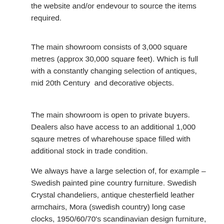the website and/or endevour to source the items required.
The main showroom consists of 3,000 square metres (approx 30,000 square feet). Which is full with a constantly changing selection of antiques, mid 20th Century  and decorative objects.
The main showroom is open to private buyers. Dealers also have access to an additional 1,000 sqaure metres of wharehouse space filled with additional stock in trade condition.
We always have a large selection of, for example – Swedish painted pine country furniture. Swedish Crystal chandeliers, antique chesterfield leather armchairs, Mora (swedish country) long case clocks, 1950/60/70's scandinavian design furniture, mirrors and lamps, Gustavian furniture (period and older reproductions).